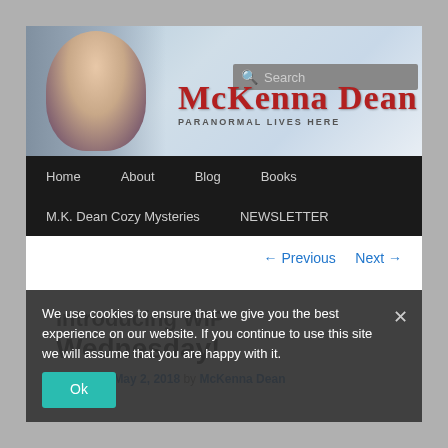[Figure (screenshot): Website header banner with a woman's face on the left, site title 'McKenna Dean' in red serif font, subtitle 'PARANORMAL LIVES HERE', and a search box.]
[Figure (screenshot): Black navigation bar with menu items: Home, About, Blog, Books, M.K. Dean Cozy Mysteries, NEWSLETTER]
← Previous   Next →
Introducing WIP Wednesday!
Posted on May 2, 2018 by McKenna Dean
We use cookies to ensure that we give you the best experience on our website. If you continue to use this site we will assume that you are happy with it.